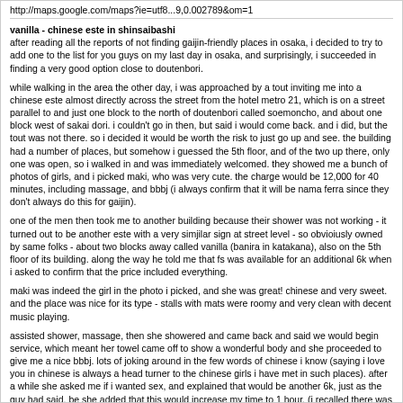http://maps.google.com/maps?ie=utf8...9,0.002789&om=1
vanilla - chinese este in shinsaibashi
after reading all the reports of not finding gaijin-friendly places in osaka, i decided to try to add one to the list for you guys on my last day in osaka, and surprisingly, i succeeded in finding a very good option close to doutenbori.
while walking in the area the other day, i was approached by a tout inviting me into a chinese este almost directly across the street from the hotel metro 21, which is on a street parallel to and just one block to the north of doutenbori called soemoncho, and about one block west of sakai dori. i couldn't go in then, but said i would come back. and i did, but the tout was not there. so i decided it would be worth the risk to just go up and see. the building had a number of places, but somehow i guessed the 5th floor, and of the two up there, only one was open, so i walked in and was immediately welcomed. they showed me a bunch of photos of girls, and i picked maki, who was very cute. the charge would be 12,000 for 40 minutes, including massage, and bbbj (i always confirm that it will be nama ferra since they don't always do this for gaijin).
one of the men then took me to another building because their shower was not working - it turned out to be another este with a very simjilar sign at street level - so obvioiusly owned by same folks - about two blocks away called vanilla (banira in katakana), also on the 5th floor of its building. along the way he told me that fs was available for an additional 6k when i asked to confirm that the price included everything.
maki was indeed the girl in the photo i picked, and she was great! chinese and very sweet. and the place was nice for its type - stalls with mats were roomy and very clean with decent music playing.
assisted shower, massage, then she showered and came back and said we would begin service, which meant her towel came off to show a wonderful body and she proceeded to give me a nice bbbj. lots of joking around in the few words of chinese i know (saying i love you in chinese is always a head turner to the chinese girls i have met in such places). after a while she asked me if i wanted sex, and explained that would be another 6k, just as the guy had said, be she added that this would increase my time to 1 hour. (i recalled there was a one hour option for 18k, so this was not at all unexpected). i agreed, paid in